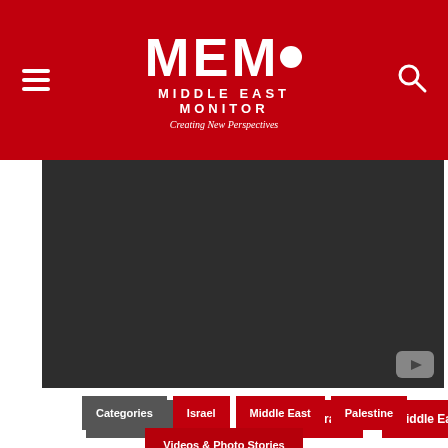[Figure (logo): MEMO Middle East Monitor logo — white text on red background with tagline 'Creating New Perspectives']
[Figure (screenshot): Dark/black video player area with YouTube play button icon in the bottom-right corner]
Categories
Israel
Middle East
Palestine
Videos & Photo Stories